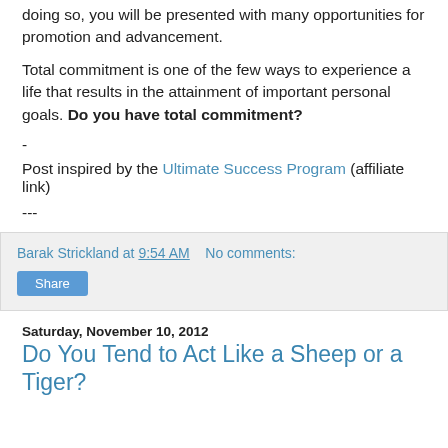doing so, you will be presented with many opportunities for promotion and advancement.
Total commitment is one of the few ways to experience a life that results in the attainment of important personal goals. Do you have total commitment?
-
Post inspired by the Ultimate Success Program (affiliate link)
---
Barak Strickland at 9:54 AM   No comments:
Share
Saturday, November 10, 2012
Do You Tend to Act Like a Sheep or a Tiger?